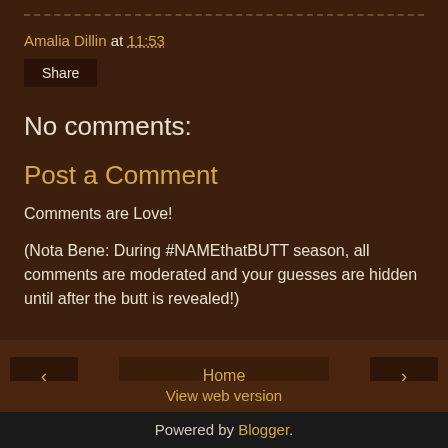Amalia Dillin at 11:53
Share
No comments:
Post a Comment
Comments are Love!
(Nota Bene: During #NAMEthatBUTT season, all comments are moderated and your guesses are hidden until after the butt is revealed!)
‹  Home  ›
View web version
Powered by Blogger.